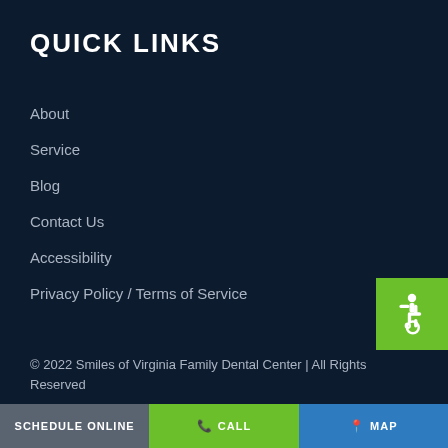QUICK LINKS
About
Service
Blog
Contact Us
Accessibility
Privacy Policy / Terms of Service
[Figure (illustration): Accessibility icon (wheelchair symbol) in white on green background]
© 2022 Smiles of Virginia Family Dental Center | All Rights Reserved
SCHEDULE ONLINE | CALL | MAP